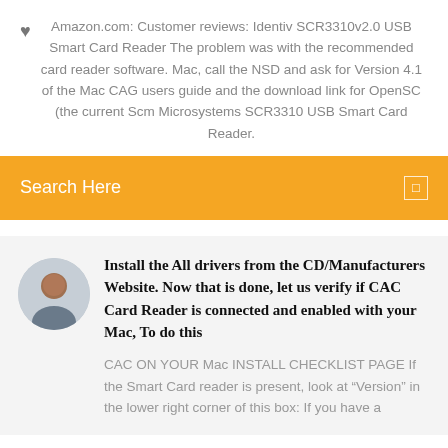Amazon.com: Customer reviews: Identiv SCR3310v2.0 USB Smart Card Reader The problem was with the recommended card reader software. Mac, call the NSD and ask for Version 4.1 of the Mac CAG users guide and the download link for OpenSC (the current Scm Microsystems SCR3310 USB Smart Card Reader.
Search Here
Install the All drivers from the CD/Manufacturers Website. Now that is done, let us verify if CAC Card Reader is connected and enabled with your Mac, To do this
CAC ON YOUR Mac INSTALL CHECKLIST PAGE If the Smart Card reader is present, look at "Version" in the lower right corner of this box: If you have a